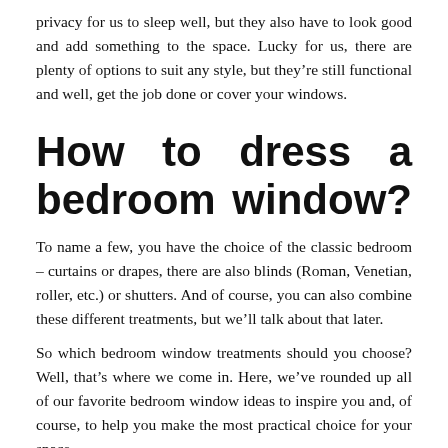privacy for us to sleep well, but they also have to look good and add something to the space. Lucky for us, there are plenty of options to suit any style, but they're still functional and well, get the job done or cover your windows.
How to dress a bedroom window?
To name a few, you have the choice of the classic bedroom – curtains or drapes, there are also blinds (Roman, Venetian, roller, etc.) or shutters. And of course, you can also combine these different treatments, but we'll talk about that later.
So which bedroom window treatments should you choose? Well, that's where we come in. Here, we've rounded up all of our favorite bedroom window ideas to inspire you and, of course, to help you make the most practical choice for your space.